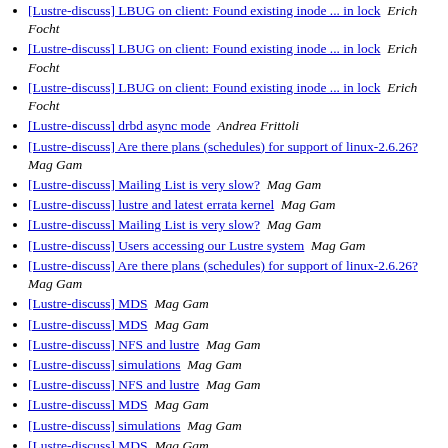[Lustre-discuss] LBUG on client: Found existing inode ... in lock  Erich Focht
[Lustre-discuss] LBUG on client: Found existing inode ... in lock  Erich Focht
[Lustre-discuss] LBUG on client: Found existing inode ... in lock  Erich Focht
[Lustre-discuss] drbd async mode  Andrea Frittoli
[Lustre-discuss] Are there plans (schedules) for support of linux-2.6.26?  Mag Gam
[Lustre-discuss] Mailing List is very slow?  Mag Gam
[Lustre-discuss] lustre and latest errata kernel  Mag Gam
[Lustre-discuss] Mailing List is very slow?  Mag Gam
[Lustre-discuss] Users accessing our Lustre system  Mag Gam
[Lustre-discuss] Are there plans (schedules) for support of linux-2.6.26?  Mag Gam
[Lustre-discuss] MDS  Mag Gam
[Lustre-discuss] MDS  Mag Gam
[Lustre-discuss] NFS and lustre  Mag Gam
[Lustre-discuss] simulations  Mag Gam
[Lustre-discuss] NFS and lustre  Mag Gam
[Lustre-discuss] MDS  Mag Gam
[Lustre-discuss] simulations  Mag Gam
[Lustre-discuss] MDS  Mag Gam
[Lustre-discuss] drbd async mode  Mag Gam
[Lustre-discuss] drbd async mode  Mag Gam